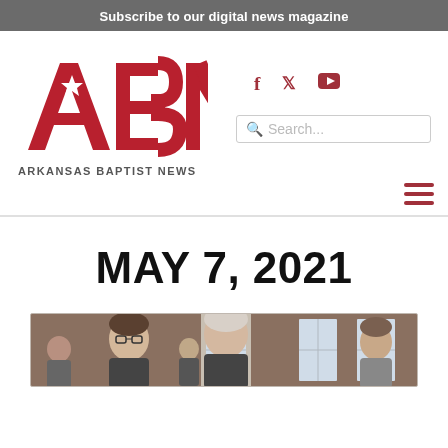Subscribe to our digital news magazine
[Figure (logo): Arkansas Baptist News (ABN) logo in red with bold letters A, B, N and text 'ARKANSAS BAPTIST NEWS' below in dark gray]
Social media icons: Facebook, Twitter, YouTube
Search...
MAY 7, 2021
[Figure (photo): Photo of two men standing outside a brick building with windows, other people visible in background]